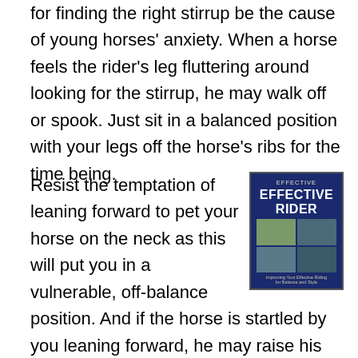for finding the right stirrup be the cause of young horses' anxiety. When a horse feels the rider's leg fluttering around looking for the stirrup, he may walk off or spook. Just sit in a balanced position with your legs off the horse's ribs for the time being.
[Figure (photo): Book cover for 'Effective Rider' showing four equestrian photos on a dark blue background]
Resist the temptation of leaning forward to pet your horse on the neck as this will put you in a vulnerable, off-balance position. And if the horse is startled by you leaning forward, he may raise his head or neck suddenly and bop you on the nose. If you feel the urge to reassure your horse that all is well, say something in a pleasant tone and give him a scratch on the withers. Use one word or a short phrase. A lot of talking at this time can be confusing, especially if the young horse has been trained to voice commands during ground work. Sit quietly, well balanced, and deep in the